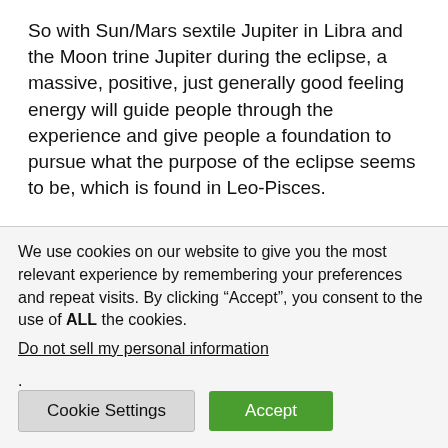So with Sun/Mars sextile Jupiter in Libra and the Moon trine Jupiter during the eclipse, a massive, positive, just generally good feeling energy will guide people through the experience and give people a foundation to pursue what the purpose of the eclipse seems to be, which is found in Leo-Pisces.
I think this eclipse is an omen of increased empathy, increased concern for other people, increased interest in the nature of life and spirituality, ect.
We use cookies on our website to give you the most relevant experience by remembering your preferences and repeat visits. By clicking “Accept”, you consent to the use of ALL the cookies.
Do not sell my personal information.